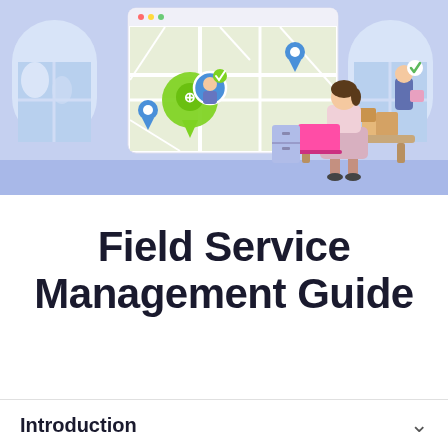[Figure (illustration): Flat-style illustration showing a field service management scene: a blue room interior with arched windows. On the left, a large monitor/screen displays a map with location pins and a worker avatar. A woman sits at a desk with a pink laptop in the center. On the right, a delivery worker stands near stacked boxes with a checkmark icon above him. The background is a soft blue/periwinkle color throughout.]
Field Service Management Guide
Introduction